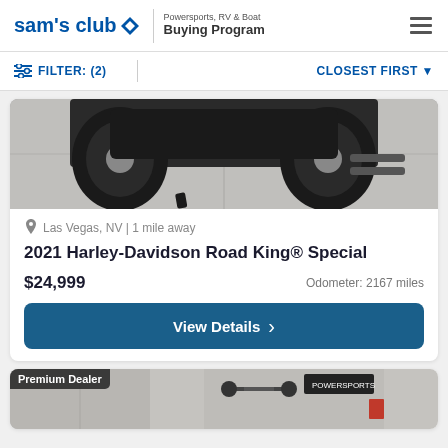sam's club Powersports, RV & Boat Buying Program
FILTER: (2)   CLOSEST FIRST
[Figure (photo): Partial view of a motorcycle (bottom portion) on a concrete surface]
Las Vegas, NV | 1 mile away
2021 Harley-Davidson Road King® Special
$24,999   Odometer: 2167 miles
View Details
[Figure (photo): Premium Dealer badge overlaid on partial photo of a bicycle or powersports vehicle]